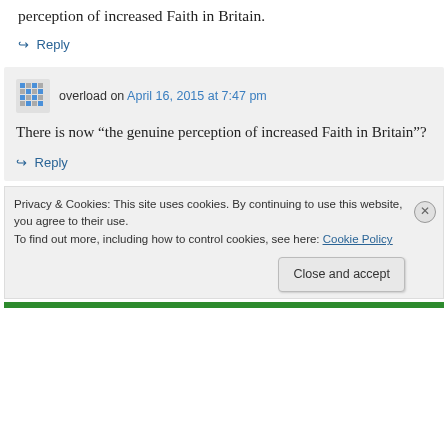perception of increased Faith in Britain.
↪ Reply
overload on April 16, 2015 at 7:47 pm
There is now “the genuine perception of increased Faith in Britain”?
↪ Reply
Privacy & Cookies: This site uses cookies. By continuing to use this website, you agree to their use.
To find out more, including how to control cookies, see here: Cookie Policy
Close and accept